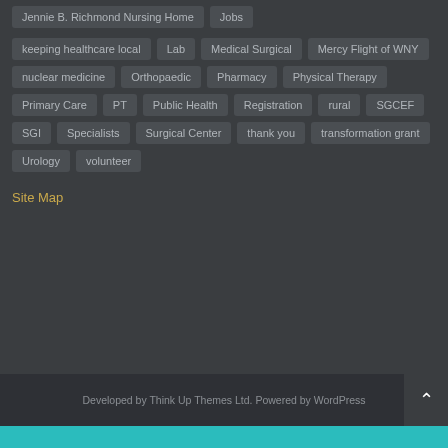keeping healthcare local
Lab
Medical Surgical
Mercy Flight of WNY
nuclear medicine
Orthopaedic
Pharmacy
Physical Therapy
Primary Care
PT
Public Health
Registration
rural
SGCEF
SGI
Specialists
Surgical Center
thank you
transformation grant
Urology
volunteer
Site Map
Developed by Think Up Themes Ltd. Powered by WordPress